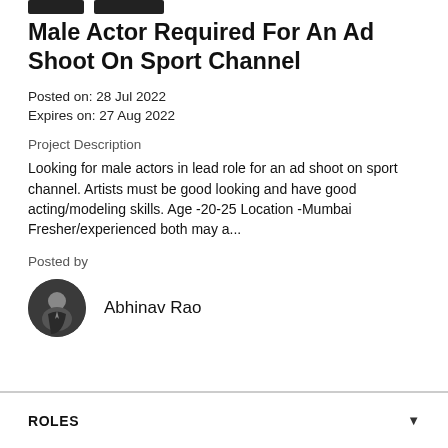[navigation buttons]
Male Actor Required For An Ad Shoot On Sport Channel
Posted on: 28 Jul 2022
Expires on: 27 Aug 2022
Project Description
Looking for male actors in lead role for an ad shoot on sport channel. Artists must be good looking and have good acting/modeling skills. Age -20-25 Location -Mumbai Fresher/experienced both may a...
Posted by
[Figure (photo): Circular profile photo of Abhinav Rao]
Abhinav Rao
ROLES